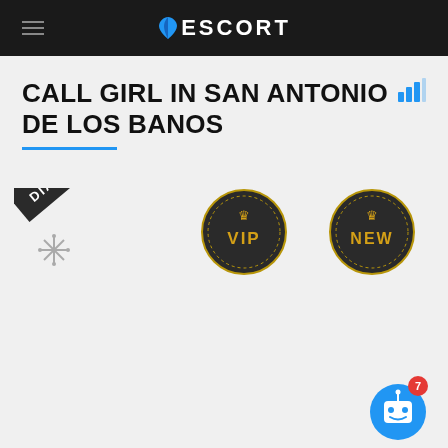ESCORT
CALL GIRL IN SAN ANTONIO DE LOS BANOS
[Figure (logo): Diamond membership ribbon badge with snowflake/star icon]
[Figure (logo): VIP circular badge with crown icon in dark circle with gold border]
[Figure (logo): NEW circular badge with crown icon in dark circle with gold border]
[Figure (illustration): Blue chat/bot button with notification badge showing 7]